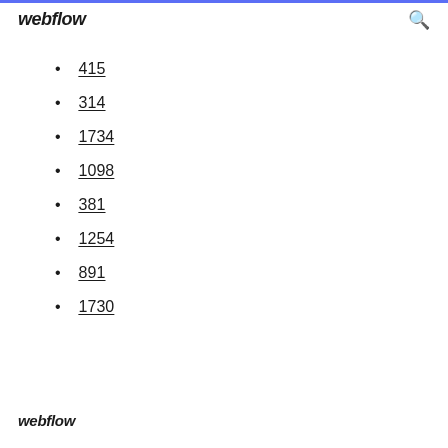webflow
415
314
1734
1098
381
1254
891
1730
webflow